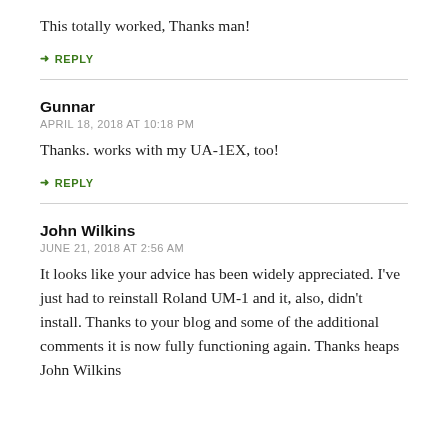This totally worked, Thanks man!
↳ REPLY
Gunnar
APRIL 18, 2018 AT 10:18 PM
Thanks. works with my UA-1EX, too!
↳ REPLY
John Wilkins
JUNE 21, 2018 AT 2:56 AM
It looks like your advice has been widely appreciated. I've just had to reinstall Roland UM-1 and it, also, didn't install. Thanks to your blog and some of the additional comments it is now fully functioning again. Thanks heaps John Wilkins